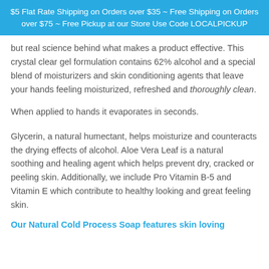$5 Flat Rate Shipping on Orders over $35 ~ Free Shipping on Orders over $75 ~ Free Pickup at our Store Use Code LOCALPICKUP
but real science behind what makes a product effective. This crystal clear gel formulation contains 62% alcohol and a special blend of moisturizers and skin conditioning agents that leave your hands feeling moisturized, refreshed and thoroughly clean.
When applied to hands it evaporates in seconds.
Glycerin, a natural humectant, helps moisturize and counteracts the drying effects of alcohol. Aloe Vera Leaf is a natural soothing and healing agent which helps prevent dry, cracked or peeling skin. Additionally, we include Pro Vitamin B-5 and Vitamin E which contribute to healthy looking and great feeling skin.
Our Natural Cold Process Soap features skin loving